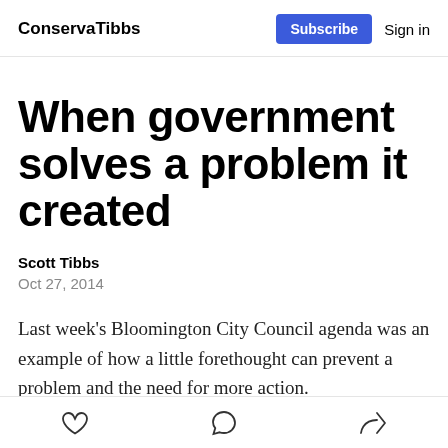ConservaTibbs | Subscribe  Sign in
When government solves a problem it created
Scott Tibbs
Oct 27, 2014
Last week's Bloomington City Council agenda was an example of how a little forethought can prevent a problem and the need for more action.
[like] [comment] [share]